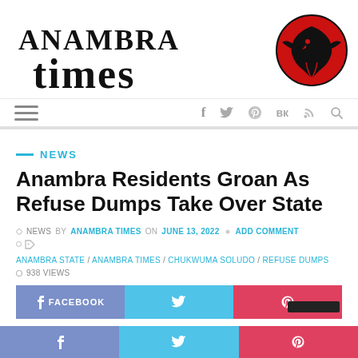[Figure (logo): Anambra Times newspaper logo with blackletter text and red circle eagle emblem]
Navigation bar with hamburger menu and social icons: f (Facebook), Twitter bird, Pinterest, VK, RSS, Search
NEWS
Anambra Residents Groan As Refuse Dumps Take Over State
NEWS by ANAMBRA TIMES on JUNE 13, 2022 · ADD COMMENT
ANAMBRA STATE / ANAMBRA TIMES / CHUKWUMA SOLUDO / REFUSE DUMPS
938 VIEWS
FACEBOOK | Twitter share | Pinterest share buttons